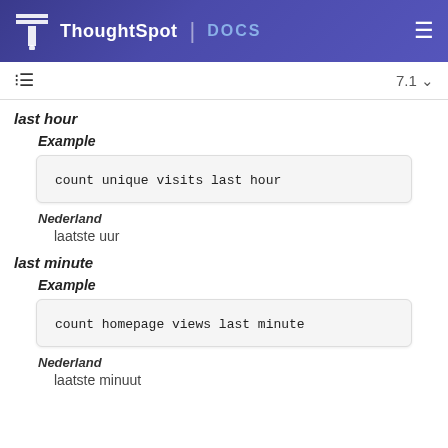ThoughtSpot DOCS
last hour
Example
count unique visits last hour
Nederland
laatste uur
last minute
Example
count homepage views last minute
Nederland
laatste minuut